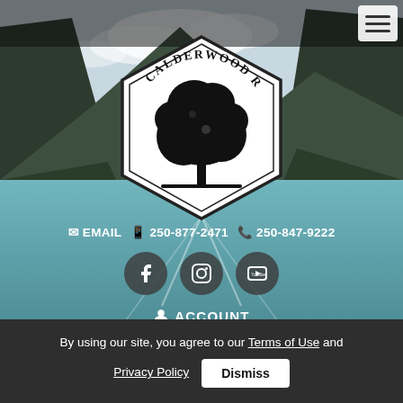[Figure (screenshot): Calderwood Realty website screenshot showing a hero landscape photo of a turquoise mountain lake, the Calderwood Realty hexagon logo, contact information, social icons, account link, and a cookie consent bar.]
EMAIL  250-877-2471  250-847-9222
ACCOUNT
By using our site, you agree to our Terms of Use and Privacy Policy  Dismiss